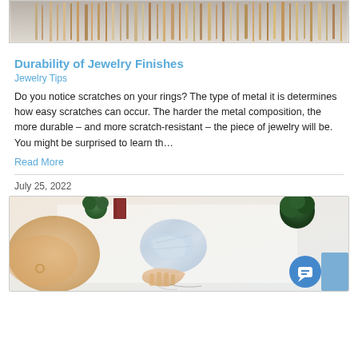[Figure (photo): Top portion of a photo showing jewelry items, likely rings or bangles arranged together, partially visible at top of page]
Durability of Jewelry Finishes
Jewelry Tips
Do you notice scratches on your rings? The type of metal it is determines how easy scratches can occur. The harder the metal composition, the more durable – and more scratch-resistant – the piece of jewelry will be. You might be surprised to learn th…
Read More
July 25, 2022
[Figure (photo): Photo showing a person's hand wrapping or handling jewelry in aluminum foil on a white surface, with plants, silk fabric, a brown book, and other accessories visible around it. A blue chat button is in the bottom right corner.]